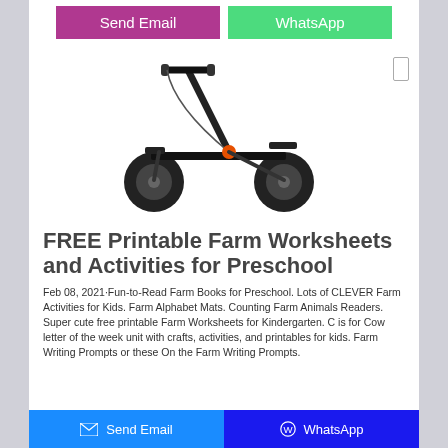[Figure (other): Two buttons at top: 'Send Email' (purple/pink) and 'WhatsApp' (green)]
[Figure (photo): Photo of a black kick scooter with two large wheels and orange accent, on white background]
FREE Printable Farm Worksheets and Activities for Preschool
Feb 08, 2021·Fun-to-Read Farm Books for Preschool. Lots of CLEVER Farm Activities for Kids. Farm Alphabet Mats. Counting Farm Animals Readers. Super cute free printable Farm Worksheets for Kindergarten. C is for Cow letter of the week unit with crafts, activities, and printables for kids. Farm Writing Prompts or these On the Farm Writing Prompts.
[Figure (other): Bottom bar with two buttons: 'Send Email' (blue) on left and 'WhatsApp' (dark blue) on right]